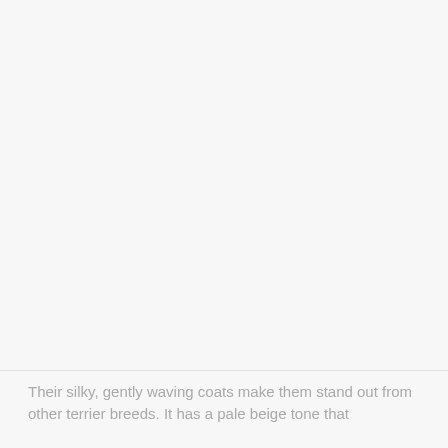[Figure (photo): Large mostly blank/white image area occupying the upper portion of the page, likely a photo placeholder or a very light photograph.]
Their silky, gently waving coats make them stand out from other terrier breeds. It has a pale beige tone that